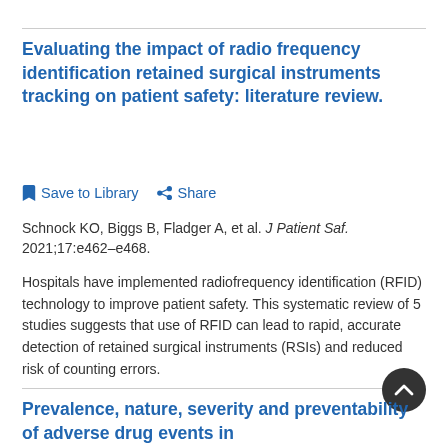Evaluating the impact of radio frequency identification retained surgical instruments tracking on patient safety: literature review.
Save to Library   Share
Schnock KO, Biggs B, Fladger A, et al. J Patient Saf. 2021;17:e462-e468.
Hospitals have implemented radiofrequency identification (RFID) technology to improve patient safety. This systematic review of 5 studies suggests that use of RFID can lead to rapid, accurate detection of retained surgical instruments (RSIs) and reduced risk of counting errors.
Prevalence, nature, severity and preventability of adverse drug events in